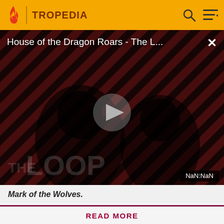TROPEDIA
[Figure (screenshot): Video thumbnail for 'House of the Dragon Roars - The L...' with diagonal red and dark stripes background, silhouettes of two people, a play button in the center, 'THE LOOP' text watermark, and NaN:NaN duration badge.]
House of the Dragon Roars - The L...
Mark of the Wolves.
Before making a single edit, Tropedia EXPECTS our site policy and manual of style to be followed. Failure to do so may
READ MORE